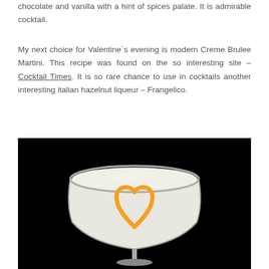chocolate and vanilla with a hint of spices palate. It is admirable cocktail.
My next choice for Valentine`s evening is modern Creme Brulee Martini. This recipe was found on the so interesting site – Cocktail Times. It is so rare chance to use in cocktails another interesting italian hazelnut liqueur – Frangelico.
[Figure (photo): A cocktail martini glass filled with a creamy white drink, with an orange heart shape drawn on top, photographed against a black background.]